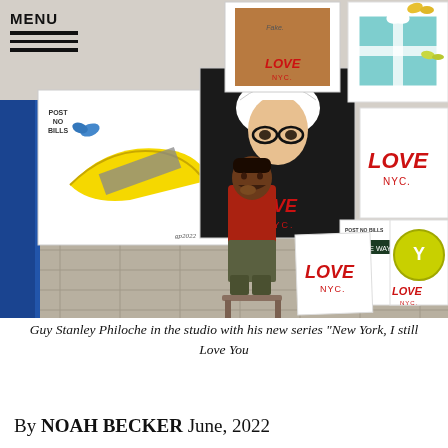[Figure (photo): Artist Guy Stanley Philoche seated in his studio surrounded by large artworks including paintings featuring 'LOVE NYC' text, banana, Warhol portrait, Basquiat portrait, Tiffany box, butterfly motifs, and geometric designs. The artist is wearing a red jacket and camouflage pants, seated on a stool in a paint-splattered studio.]
Guy Stanley Philoche in the studio with his new series "New York, I still Love You
By NOAH BECKER June, 2022